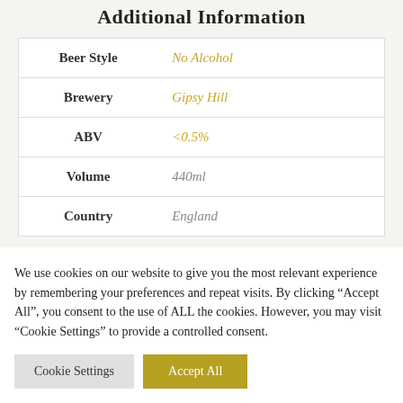Additional Information
| Label | Value |
| --- | --- |
| Beer Style | No Alcohol |
| Brewery | Gipsy Hill |
| ABV | <0.5% |
| Volume | 440ml |
| Country | England |
We use cookies on our website to give you the most relevant experience by remembering your preferences and repeat visits. By clicking “Accept All”, you consent to the use of ALL the cookies. However, you may visit “Cookie Settings” to provide a controlled consent.